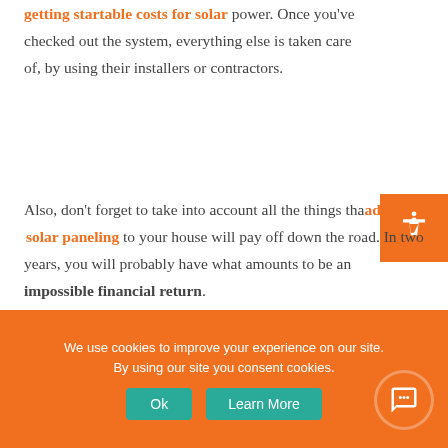getting startable costs for solar power. Once you've checked out the system, everything else is taken care of, by using their installers or contractors.
Also, don't forget to take into account all the things that adding solar paneling to your house will pay off down the road. In two years, you will probably have what amounts to be an impossible financial return.
Factor in insurance
[Figure (photo): Solar panels on a roof against a blue sky]
We use cookies to improve your experience on our site. By using our site you consent cookies.